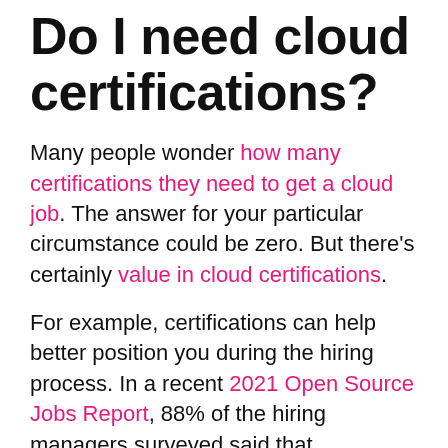Do I need cloud certifications?
Many people wonder how many certifications they need to get a cloud job. The answer for your particular circumstance could be zero. But there's certainly value in cloud certifications.
For example, certifications can help better position you during the hiring process. In a recent 2021 Open Source Jobs Report, 88% of the hiring managers surveyed said that certifications are important when evaluating resumes or CVs. When hiring managers